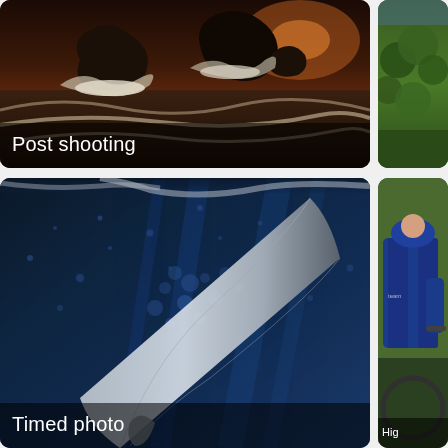[Figure (photo): Dramatic ocean waves crashing against rocks at sunset/dusk, with a dark moody sky. Label overlay reads 'Post shooting'.]
[Figure (photo): Partial view of a green forested hillside or landscape, cropped on the right side.]
[Figure (photo): Underwater view of a surfboard cutting through blue water with bubbles and spray. Label overlay reads 'Timed photo'.]
[Figure (photo): Partial view of a cyclist in blue jersey on a bicycle, cropped on the right side. Label overlay reads 'Hig' (truncated).]